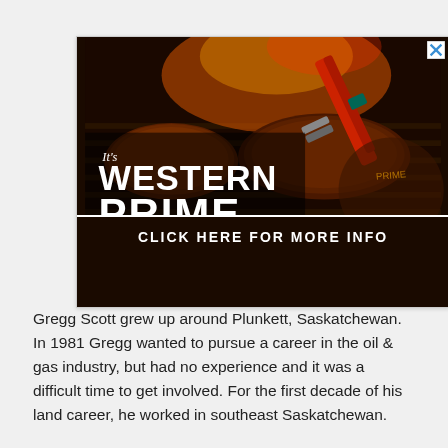[Figure (illustration): Advertisement for Western Prime — shows grilled meat on a barbecue grill with tongs. Text overlay reads: "It's WESTERN PRIME TIME" with a call-to-action bar at the bottom: "CLICK HERE FOR MORE INFO". A close button (X) appears in the top-right corner.]
Gregg Scott grew up around Plunkett, Saskatchewan. In 1981 Gregg wanted to pursue a career in the oil & gas industry, but had no experience and it was a difficult time to get involved. For the first decade of his land career, he worked in southeast Saskatchewan.